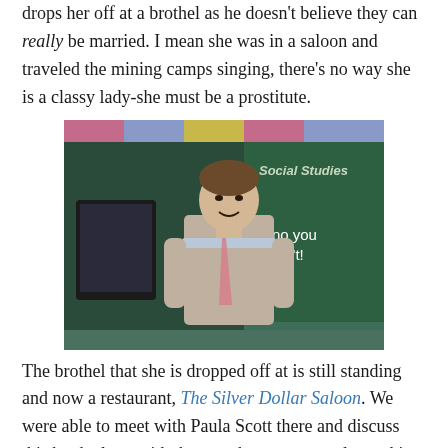drops her off at a brothel as he doesn't believe they can really be married. I mean she was in a saloon and traveled the mining camps singing, there's no way she is a classy lady-she must be a prostitute.
[Figure (photo): A man in a classroom standing in front of a chalkboard with 'Social Studies' written on it. Text overlay reads 'oh no you didn't!']
The brothel that she is dropped off at is still standing and now a restaurant, The Silver Dollar Saloon. We were able to meet with Paula Scott there and discuss this book along with the one she was currently working on Farming Grace: